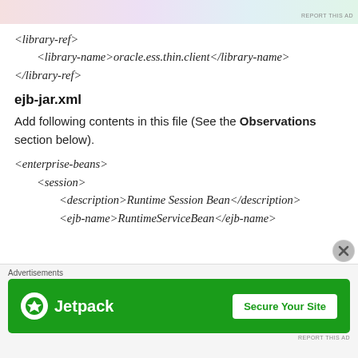[Figure (other): Top advertisement banner with colorful imagery, partially visible]
<library-ref>
<library-name>oracle.ess.thin.client</library-name>
</library-ref>
ejb-jar.xml
Add following contents in this file (See the Observations section below).
<enterprise-beans>
<session>
<description>Runtime Session Bean</description>
<ejb-name>RuntimeServiceBean</ejb-name>
[Figure (other): Bottom advertisement banner: Jetpack 'Secure Your Site' green banner ad with close button]